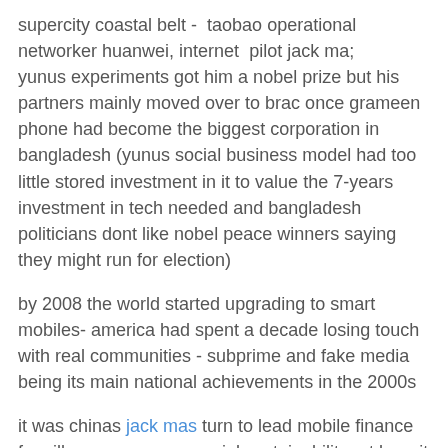supercity coastal belt - taobao operational networker huanwei, internet pilot jack ma; yunus experiments got him a nobel prize but his partners mainly moved over to brac once grameen phone had become the biggest corporation in bangladesh (yunus social business model had too little stored investment in it to value the 7-years investment in tech needed and bangladesh politicians dont like nobel peace winners saying they might run for election)
by 2008 the world started upgrading to smart mobiles- america had spent a decade losing touch with real communities - subprime and fake media being its main national achievements in the 2000s
it was chinas jack mas turn to lead mobile finance for village smes commercial sustainability -at brac it took another 10 years before those who had started with yunus had produced the bank a billion concept www.bkash.com with the world's largest ngo partnership including gates and mastercard foundations which wanted to transfer sustainable finance to africa particularly vanznia and uganda - in 2018